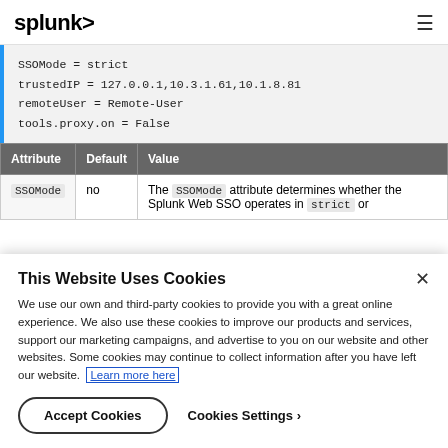splunk> ☰
SSOMode = strict
trustedIP = 127.0.0.1,10.3.1.61,10.1.8.81
remoteUser = Remote-User
tools.proxy.on = False
| Attribute | Default | Value |
| --- | --- | --- |
| SSOMode | no | The SSOMode attribute determines whether the Splunk Web SSO operates in strict or... |
This Website Uses Cookies
We use our own and third-party cookies to provide you with a great online experience. We also use these cookies to improve our products and services, support our marketing campaigns, and advertise to you on our website and other websites. Some cookies may continue to collect information after you have left our website. Learn more here
Accept Cookies   Cookies Settings ›